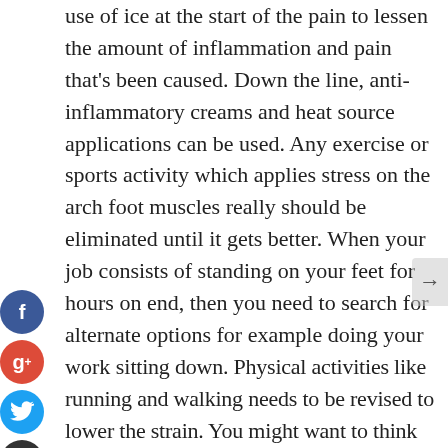use of ice at the start of the pain to lessen the amount of inflammation and pain that's been caused. Down the line, anti-inflammatory creams and heat source applications can be used. Any exercise or sports activity which applies stress on the arch foot muscles really should be eliminated until it gets better. When your job consists of standing on your feet for hours on end, then you need to search for alternate options for example doing your work sitting down. Physical activities like running and walking needs to be revised to lower the strain. You might want to think about having a go at pursuits such as swimming or cycling until your arch foot pain reduces. The wearing of supporting footwear is generally a great option to help the treatment of arch foot pain. Your podiatrist will also have the right advice and might advise that you wear foot orthoses.
[Figure (infographic): Social media share icons: Facebook (blue circle with f), Google+ (red circle with g+), Twitter (blue circle with bird), Add/share (dark circle with plus sign)]